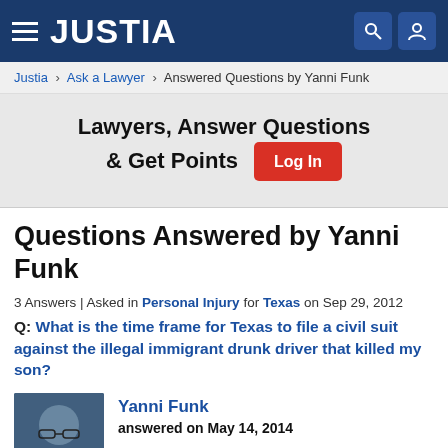JUSTIA
Justia > Ask a Lawyer > Answered Questions by Yanni Funk
Lawyers, Answer Questions & Get Points  Log In
Questions Answered by Yanni Funk
3 Answers | Asked in Personal Injury for Texas on Sep 29, 2012
Q: What is the time frame for Texas to file a civil suit against the illegal immigrant drunk driver that killed my son?
Yanni Funk
answered on May 14, 2014